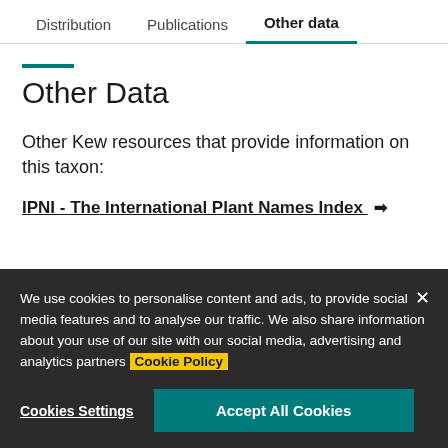Distribution | Publications | Other data
Other Data
Other Kew resources that provide information on this taxon:
IPNI - The International Plant Names Index [external link]
We use cookies to personalise content and ads, to provide social media features and to analyse our traffic. We also share information about your use of our site with our social media, advertising and analytics partners Cookie Policy
Cookies Settings | Accept All Cookies